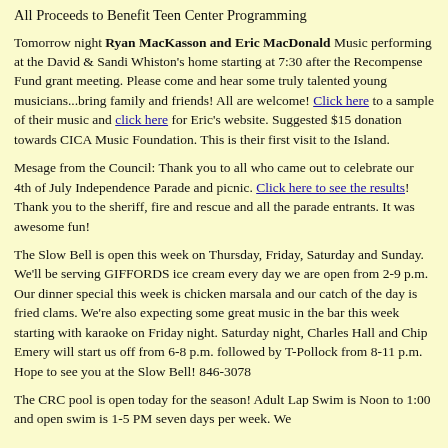All Proceeds to Benefit Teen Center Programming
Tomorrow night Ryan MacKasson and Eric MacDonald Music performing at the David & Sandi Whiston's home starting at 7:30 after the Recompense Fund grant meeting. Please come and hear some truly talented young musicians...bring family and friends! All are welcome! Click here to a sample of their music and click here for Eric's website. Suggested $15 donation towards CICA Music Foundation. This is their first visit to the Island.
Mesage from the Council: Thank you to all who came out to celebrate our 4th of July Independence Parade and picnic. Click here to see the results! Thank you to the sheriff, fire and rescue and all the parade entrants. It was awesome fun!
The Slow Bell is open this week on Thursday, Friday, Saturday and Sunday. We'll be serving GIFFORDS ice cream every day we are open from 2-9 p.m. Our dinner special this week is chicken marsala and our catch of the day is fried clams. We're also expecting some great music in the bar this week starting with karaoke on Friday night. Saturday night, Charles Hall and Chip Emery will start us off from 6-8 p.m. followed by T-Pollock from 8-11 p.m. Hope to see you at the Slow Bell! 846-3078
The CRC pool is open today for the season! Adult Lap Swim is Noon to 1:00 and open swim is 1-5 PM seven days per week. We